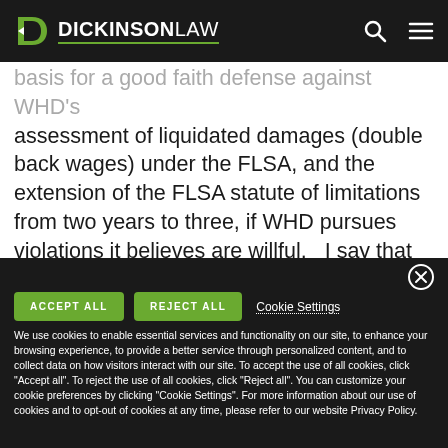DICKINSON LAW
basis for a good faith defense against WHD's assessment of liquidated damages (double back wages) under the FLSA, and the extension of the FLSA statute of limitations from two years to three, if WHD pursues violations it believes are willful.   I say that it's all good that Opinion Letters are coming back.
ACCEPT ALL  REJECT ALL  Cookie Settings
We use cookies to enable essential services and functionality on our site, to enhance your browsing experience, to provide a better service through personalized content, and to collect data on how visitors interact with our site. To accept the use of all cookies, click "Accept all". To reject the use of all cookies, click "Reject all". You can customize your cookie preferences by clicking "Cookie Settings". For more information about our use of cookies and to opt-out of cookies at any time, please refer to our website Privacy Policy.